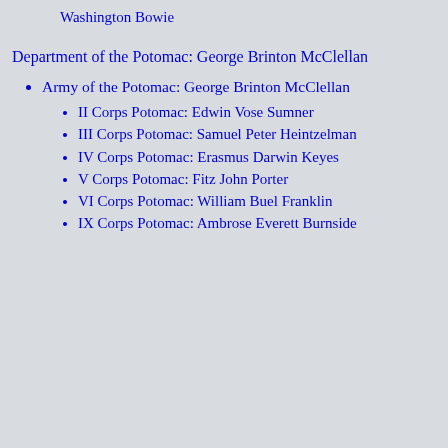Washington Bowie
Department of the Potomac: George Brinton McClellan
Army of the Potomac: George Brinton McClellan
II Corps Potomac: Edwin Vose Sumner
III Corps Potomac: Samuel Peter Heintzelman
IV Corps Potomac: Erasmus Darwin Keyes
V Corps Potomac: Fitz John Porter
VI Corps Potomac: William Buel Franklin
IX Corps Potomac: Ambrose Everett Burnside